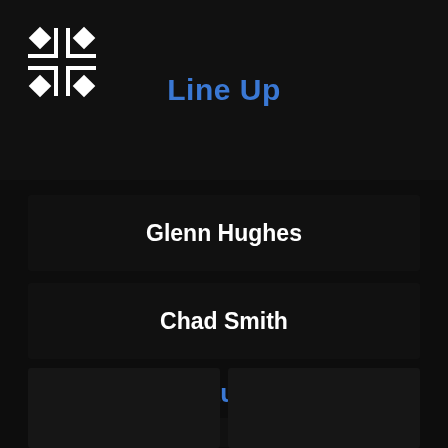[Figure (logo): White asterisk/cross-like logo icon on dark background]
Line Up
Glenn Hughes
Chad Smith
John Frusciante
Pictures
[Figure (photo): Two dark image thumbnails at bottom of screen]